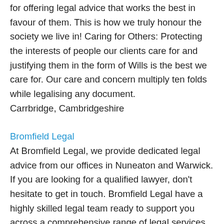for offering legal advice that works the best in favour of them. This is how we truly honour the society we live in! Caring for Others: Protecting the interests of people our clients care for and justifying them in the form of Wills is the best we care for. Our care and concern multiply ten folds while legalising any document. Carrbridge, Cambridgeshire
Bromfield Legal
At Bromfield Legal, we provide dedicated legal advice from our offices in Nuneaton and Warwick. If you are looking for a qualified lawyer, don't hesitate to get in touch. Bromfield Legal have a highly skilled legal team ready to support you across a comprehensive range of legal services.
Warwick, Warwickshire